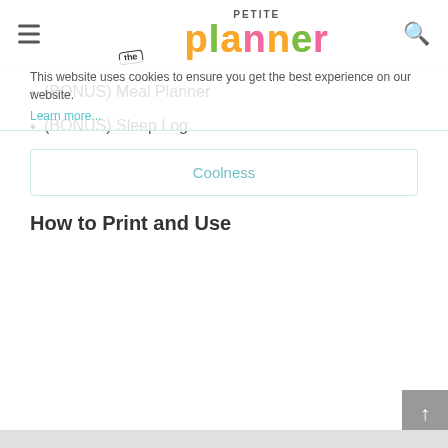The Petite Planner
This website uses cookies to ensure you get the best experience on our website.
Learn more...
(BONUS) Meal Planner
(BONUS) Sleep Log
Coolness
How to Print and Use